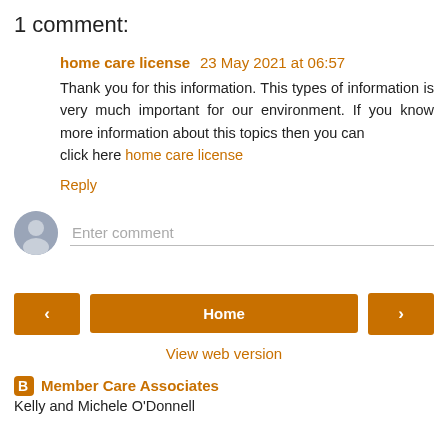1 comment:
home care license  23 May 2021 at 06:57
Thank you for this information. This types of information is very much important for our environment. If you know more information about this topics then you can click here home care license
Reply
Enter comment
Home
View web version
Member Care Associates
Kelly and Michele O'Donnell